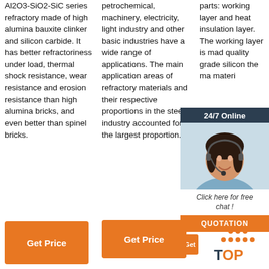Al2O3-SiO2-SiC series refractory made of high alumina bauxite clinker and silicon carbide. It has better refractoriness under load, thermal shock resistance, wear resistance and erosion resistance than high alumina bricks, and even better than spinel bricks.
petrochemical, machinery, electricity, light industry and other basic industries have a wide range of applications. The main application areas of refractory materials and their respective proportions in the steel industry accounted for the largest proportion.
parts: working layer and heat insulation layer. The working layer is made of quality grade silicon the main material
[Figure (photo): Customer service representative with headset, smiling, with 24/7 Online chat widget overlay showing orange QUOTATION button]
Get Price (button, column 1)
Get Price (button, column 2)
[Figure (logo): TOP icon with orange dots arranged in triangle above bold TOP text in orange and dark blue]